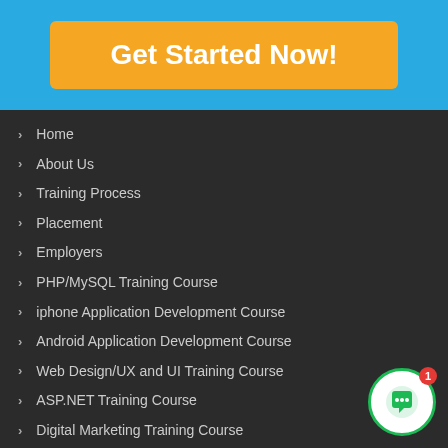Get Started Now!
Home
About Us
Training Process
Placement
Employers
PHP/MySQL Training Course
iphone Application Development Course
Android Application Development Course
Web Design/UX and UI Training Course
ASP.NET Training Course
Digital Marketing Training Course
Hybrid Apps Development Course
Software Testing Course
Corporate Training Course
Blog
[Figure (illustration): Chat widget circle with speech bubble icon and red notification badge showing '1']